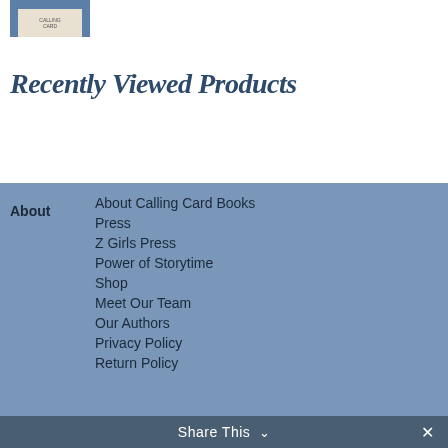[Figure (photo): Partial book cover thumbnail showing a blue book with a small label]
Recently Viewed Products
About Calling Card Books
Press
Z Girls Press
Power of Storytime
Shop
Meet Our Team
Our Authors
Privacy Policy
Return Policy
Share This ∨  ✕